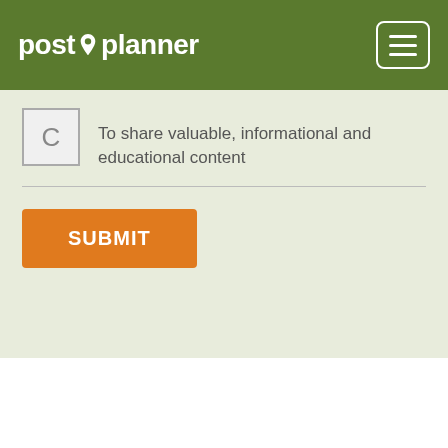post planner
To share valuable, informational and educational content
SUBMIT
We use cookies to give you the best experience possible. By continuing, we'll assume you're cool with our cookie policy.
Accept